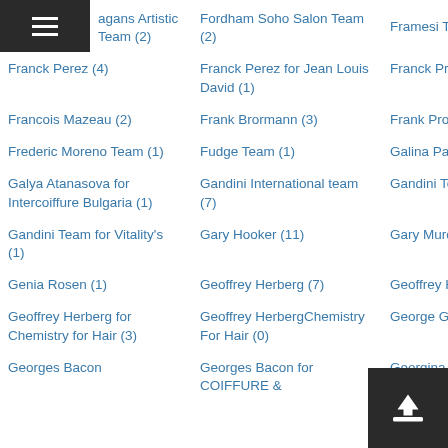agans Artistic Team (2)
Fordham Soho Salon Team (2)
Framesi Team (1)
Franck Perez (4)
Franck Perez for Jean Louis David (1)
Franck Provost (1)
Francois Mazeau (2)
Frank Brormann (3)
Frank Provost Team (1)
Frederic Moreno Team (1)
Fudge Team (1)
Galina Paramonova (1)
Galya Atanasova for Intercoiffure Bulgaria (1)
Gandini International team (7)
Gandini Team (3)
Gandini Team for Vitality's (1)
Gary Hooker (11)
Gary Murdoch (2)
Genia Rosen (1)
Geoffrey Herberg (7)
Geoffrey Herberg Chemistry For Hair (2)
Geoffrey Herberg for Chemistry for Hair (3)
Geoffrey HerbergChemistry For Hair (0)
George Giavis (5)
Georges Bacon (1)
Georges Bacon for COIFFURE &
Georgina Limb @ Con…